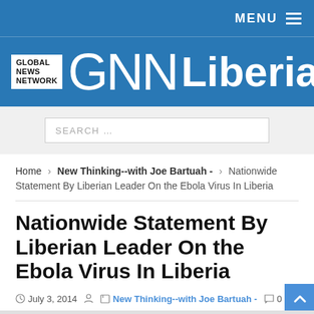MENU
[Figure (logo): Global News Network GNN Liberia logo on blue background]
SEARCH ...
Home > New Thinking--with Joe Bartuah - > Nationwide Statement By Liberian Leader On the Ebola Virus In Liberia
Nationwide Statement By Liberian Leader On the Ebola Virus In Liberia
July 3, 2014  New Thinking--with Joe Bartuah -  0